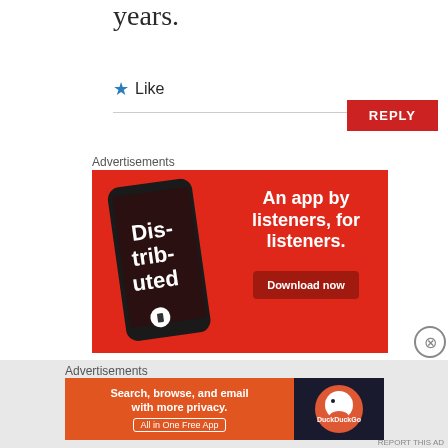years.
★ Like
REPLY
Advertisements
[Figure (illustration): Advertisement banner for a podcast app showing a phone mockup with 'Dis-trib-uted' text on screen, red background, with tagline 'An app by listeners, for listeners.' and 'Download now' button.]
Advertisements
[Figure (illustration): DuckDuckGo advertisement banner: 'Search, browse, and email with more privacy. All in One Free App' on orange background with DuckDuckGo logo on dark background.]